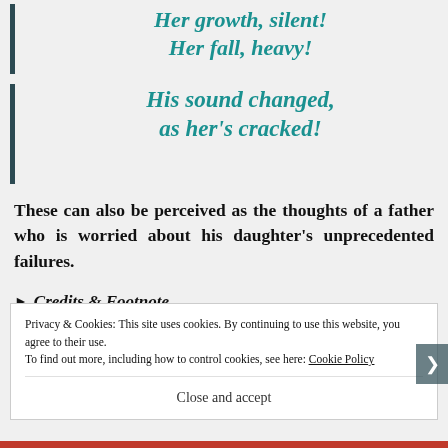Her growth, silent!
Her fall, heavy!
His sound changed,
as her's cracked!
These can also be perceived as the thoughts of a father who is worried about his daughter's unprecedented failures.
▶ Credits & Footnote
Privacy & Cookies: This site uses cookies. By continuing to use this website, you agree to their use.
To find out more, including how to control cookies, see here: Cookie Policy
Close and accept